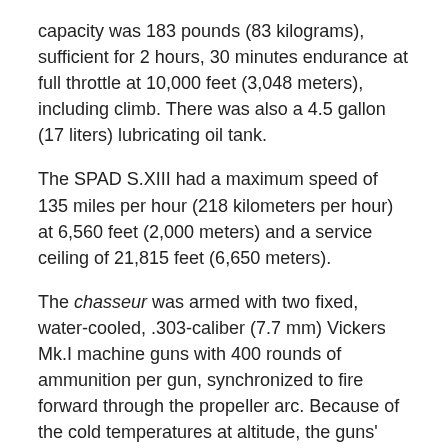capacity was 183 pounds (83 kilograms), sufficient for 2 hours, 30 minutes endurance at full throttle at 10,000 feet (3,048 meters), including climb. There was also a 4.5 gallon (17 liters) lubricating oil tank.
The SPAD S.XIII had a maximum speed of 135 miles per hour (218 kilometers per hour) at 6,560 feet (2,000 meters) and a service ceiling of 21,815 feet (6,650 meters).
The chasseur was armed with two fixed, water-cooled, .303-caliber (7.7 mm) Vickers Mk.I machine guns with 400 rounds of ammunition per gun, synchronized to fire forward through the propeller arc. Because of the cold temperatures at altitude, the guns' water jackets were not filled, thereby saving considerable weight.
The SPAD S.XIII was produced by nine manufacturers. 8,472 were built. Only four are still in existence.